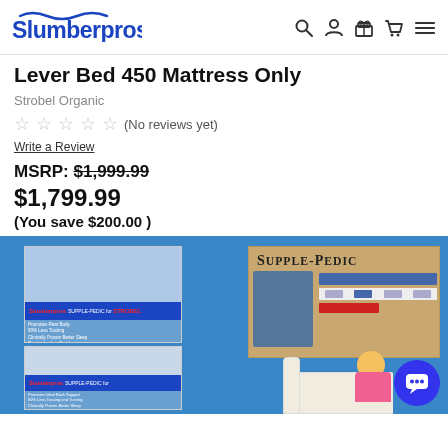Slumberpros
Lever Bed 450 Mattress Only
Strobel Organic
★★★★★ (No reviews yet)
Write a Review
MSRP: $1,999.99
$1,799.99
(You save $200.00 )
[Figure (photo): Product showroom photo with blue background, two posters showing Supple-Pedic mattress demonstrations, and a woman sitting on a white sofa reading a book. A blue chat bubble button appears in the bottom right corner.]